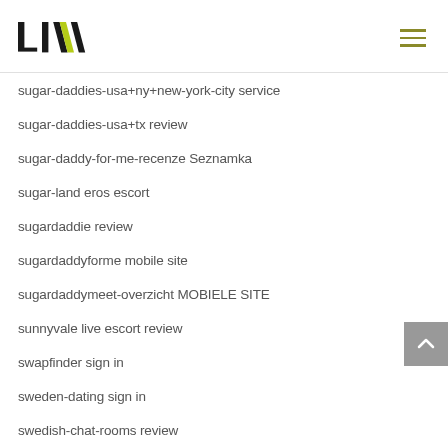LIV logo and navigation
sugar-daddies-usa+ny+new-york-city service
sugar-daddies-usa+tx review
sugar-daddy-for-me-recenze Seznamka
sugar-land eros escort
sugardaddie review
sugardaddyforme mobile site
sugardaddymeet-overzicht MOBIELE SITE
sunnyvale live escort review
swapfinder sign in
sweden-dating sign in
swedish-chat-rooms review
sweet pea Strona mobilna